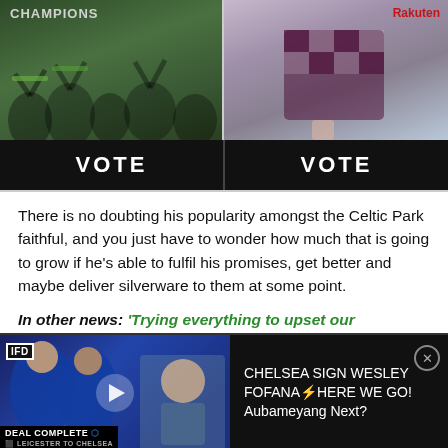[Figure (photo): Left: Celtic fans cheering with 'Champions' banner visible. Right: Football player in dark checkered jersey with Rakuten logo.]
VOTE | VOTE
There is no doubting his popularity amongst the Celtic Park faithful, and you just have to wonder how much that is going to grow if he's able to fulfil his promises, get better and maybe deliver silverware to them at some point.
In other news: 'Trying everything to upset our momentum', 'Wow' – Many Celtic fans fume over 'shocking' claim
[Figure (screenshot): Video ad thumbnail showing Chelsea football players in blue kits and a presenter. Text: CHELSEA SIGN WESLEY FOFANA⚡HERE WE GO! Aubameyang Next? Deal Complete badge visible.]